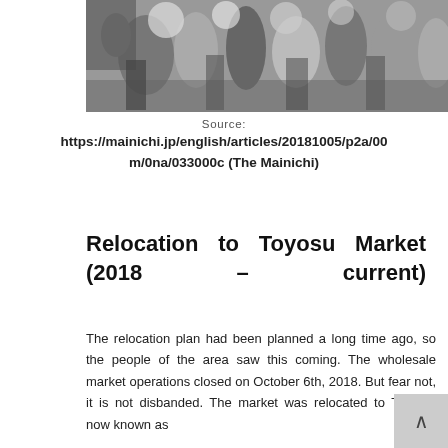[Figure (photo): Black and white photograph of a crowd of people, appearing to be at a market or auction, many with arms raised.]
Source:
https://mainichi.jp/english/articles/20181005/p2a/00m/0na/033000c (The Mainichi)
Relocation to Toyosu Market (2018 – current)
The relocation plan had been planned a long time ago, so the people of the area saw this coming. The wholesale market operations closed on October 6th, 2018. But fear not, it is not disbanded. The market was relocated to Toyosu, now known as